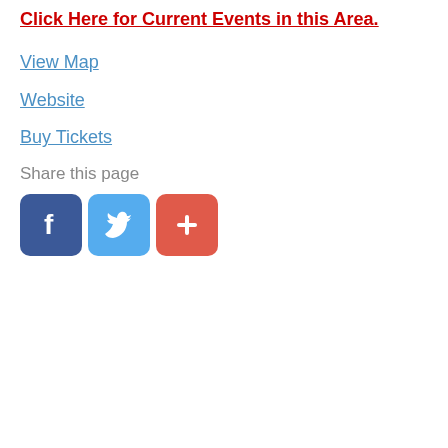Click Here for Current Events in this Area.
View Map
Website
Buy Tickets
Share this page
[Figure (infographic): Three social sharing icons: Facebook (blue), Twitter (light blue), Google+ or share (red/orange), each as rounded square buttons]